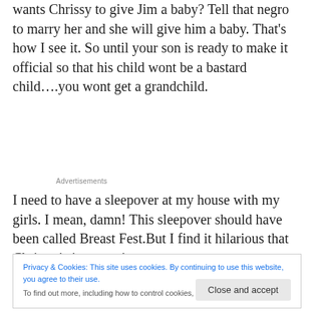wants Chrissy to give Jim a baby? Tell that negro to marry her and she will give him a baby. That’s how I see it. So until your son is ready to make it official so that his child wont be a bastard child….you wont get a grandchild.
Advertisements
I need to have a sleepover at my house with my girls. I mean, damn! This sleepover should have been called Breast Fest.But I find it hilarious that Chrissy is in a onesie
Privacy & Cookies: This site uses cookies. By continuing to use this website, you agree to their use.
To find out more, including how to control cookies, see here: Cookie Policy
Wait…that’s it?!!!!!!!!!!!!!!